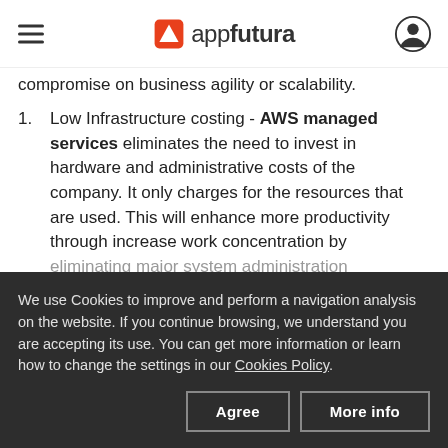appfutura
compromise on business agility or scalability.
Low Infrastructure costing - AWS managed services eliminates the need to invest in hardware and administrative costs of the company. It only charges for the resources that are used. This will enhance more productivity through increase work concentration by eliminating major system administration
We use Cookies to improve and perform a navigation analysis on the website. If you continue browsing, we understand you are accepting its use. You can get more information or learn how to change the settings in our Cookies Policy.